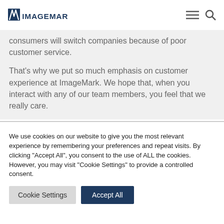ImageMark
consumers will switch companies because of poor customer service.
That's why we put so much emphasis on customer experience at ImageMark. We hope that, when you interact with any of our team members, you feel that we really care.
We use cookies on our website to give you the most relevant experience by remembering your preferences and repeat visits. By clicking "Accept All", you consent to the use of ALL the cookies. However, you may visit "Cookie Settings" to provide a controlled consent.
Cookie Settings | Accept All